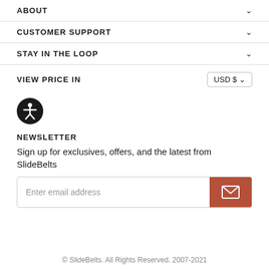ABOUT
CUSTOMER SUPPORT
STAY IN THE LOOP
VIEW PRICE IN  USD $
[Figure (illustration): Black circular accessibility icon with white figure person with arms outstretched]
NEWSLETTER
Sign up for exclusives, offers, and the latest from SlideBelts
Enter email address
© SlideBelts. All Rights Reserved. 2007-2021